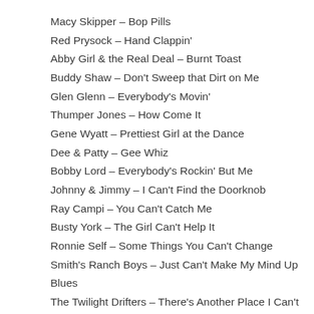Macy Skipper – Bop Pills
Red Prysock – Hand Clappin'
Abby Girl & the Real Deal – Burnt Toast
Buddy Shaw – Don't Sweep that Dirt on Me
Glen Glenn – Everybody's Movin'
Thumper Jones – How Come It
Gene Wyatt – Prettiest Girl at the Dance
Dee & Patty – Gee Whiz
Bobby Lord – Everybody's Rockin' But Me
Johnny & Jimmy – I Can't Find the Doorknob
Ray Campi – You Can't Catch Me
Busty York – The Girl Can't Help It
Ronnie Self – Some Things You Can't Change
Smith's Ranch Boys – Just Can't Make My Mind Up Blues
The Twilight Drifters – There's Another Place I Can't Go
Slim Slip & the Sliders – You Can't Fool Me
Southern Culture on the Skids – Devil's Stompin' Ground